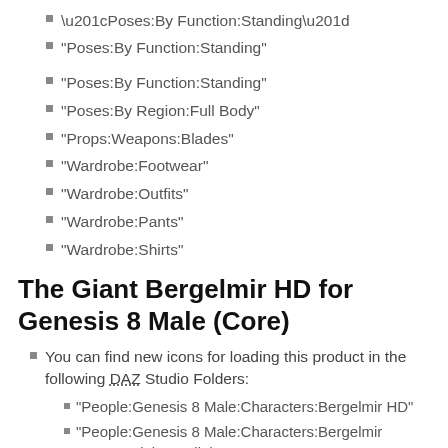“Poses:By Function:Standing”
“Poses:By Region:Full Body”
“Props:Weapons:Blades”
“Wardrobe:Footwear”
“Wardrobe:Outfits”
“Wardrobe:Pants”
“Wardrobe:Shirts”
The Giant Bergelmir HD for Genesis 8 Male (Core)
You can find new icons for loading this product in the following DAZ Studio Folders:
“People:Genesis 8 Male:Characters:Bergelmir HD”
“People:Genesis 8 Male:Characters:Bergelmir HD:Materials:3Delight”
“People:Genesis 8 Male:Characters:Bergelmir HD:Materials:Iray”
“People:Genesis 8 Male:Clothing:Bergelmir HD…”